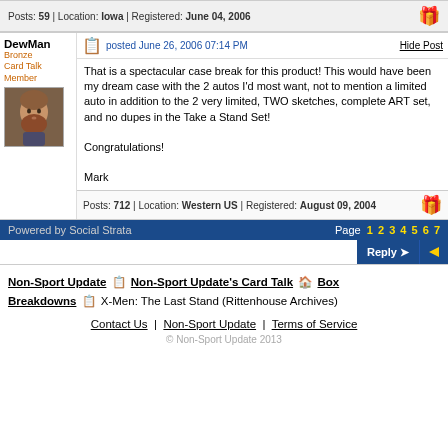Posts: 59 | Location: Iowa | Registered: June 04, 2006
DewMan
Bronze Card Talk Member
posted June 26, 2006 07:14 PM
Hide Post
That is a spectacular case break for this product! This would have been my dream case with the 2 autos I'd most want, not to mention a limited auto in addition to the 2 very limited, TWO sketches, complete ART set, and no dupes in the Take a Stand Set!

Congratulations!

Mark
Posts: 712 | Location: Western US | Registered: August 09, 2004
Powered by Social Strata    Page 1 2 3 4 5 6 7
Reply
Non-Sport Update | Non-Sport Update's Card Talk | Box Breakdowns | X-Men: The Last Stand (Rittenhouse Archives)
Contact Us | Non-Sport Update | Terms of Service
© Non-Sport Update 2013